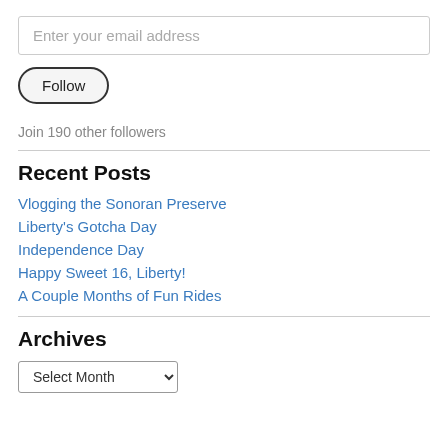Enter your email address
Follow
Join 190 other followers
Recent Posts
Vlogging the Sonoran Preserve
Liberty's Gotcha Day
Independence Day
Happy Sweet 16, Liberty!
A Couple Months of Fun Rides
Archives
Select Month